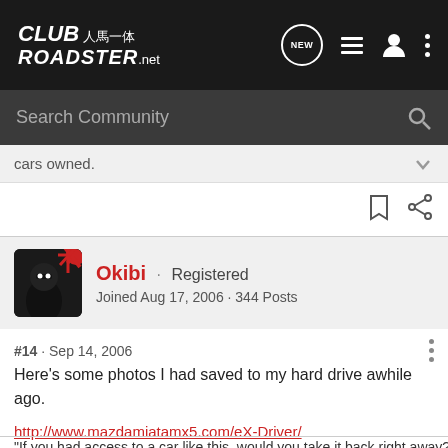CLUB ROADSTER.net
Search Community
cars owned.
Okibi · Registered
Joined Aug 17, 2006 · 344 Posts
#14 · Sep 14, 2006
Here's some photos I had saved to my hard drive awhile ago.
http://www.mazdamiatamx5.com/eX-Driver/
"If you had access to a car like this, would you take it back right away?